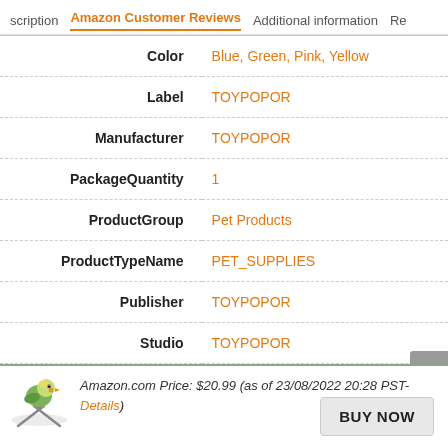scription  Amazon Customer Reviews  Additional information  Re
| Field | Value |
| --- | --- |
| Color | Blue, Green, Pink, Yellow |
| Label | TOYPOPOR |
| Manufacturer | TOYPOPOR |
| PackageQuantity | 1 |
| ProductGroup | Pet Products |
| ProductTypeName | PET_SUPPLIES |
| Publisher | TOYPOPOR |
| Studio | TOYPOPOR |
Amazon.com Price: $20.99 (as of 23/08/2022 20:28 PST- Details)
BUY NOW